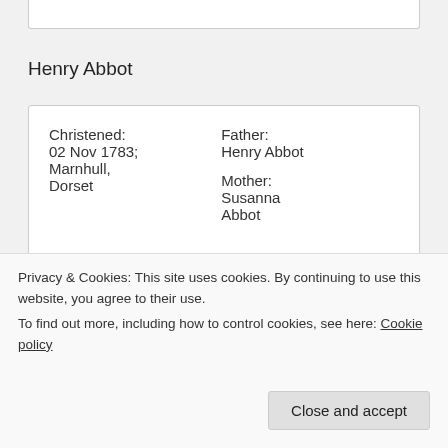Henry Abbot
| Christened: | Father: |
| 02 Nov 1783; Marnhull, Dorset | Henry Abbot |
|  | Mother: |
|  | Susanna Abbot |
Henry William Abbott
Privacy & Cookies: This site uses cookies. By continuing to use this website, you agree to their use.
To find out more, including how to control cookies, see here: Cookie policy
Close and accept